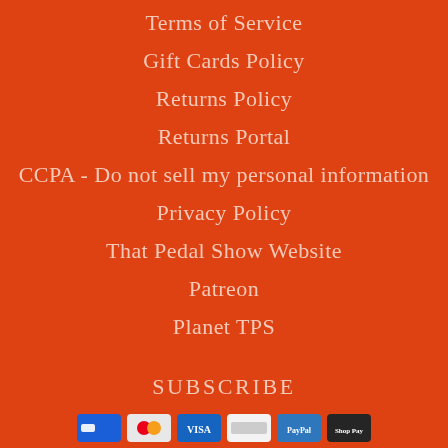Terms of Service
Gift Cards Policy
Returns Policy
Returns Portal
CCPA - Do not sell my personal information
Privacy Policy
That Pedal Show Website
Patreon
Planet TPS
SUBSCRIBE
Sign up to the TPS mailing list
Your Email
OK
[Figure (other): Payment method icons row at bottom of page]